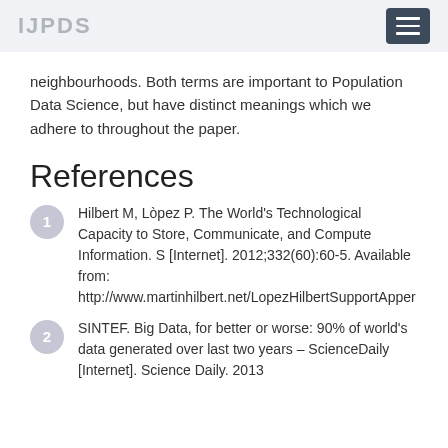IJPDS
neighbourhoods. Both terms are important to Population Data Science, but have distinct meanings which we adhere to throughout the paper.
References
Hilbert M, Lòpez P. The World's Technological Capacity to Store, Communicate, and Compute Information. S [Internet]. 2012;332(60):60-5. Available from: http://www.martinhilbert.net/LopezHilbertSupportApper
SINTEF. Big Data, for better or worse: 90% of world's data generated over last two years – ScienceDaily [Internet]. Science Daily. 2013